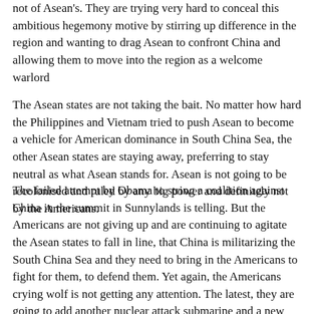not of Asean's. They are trying very hard to conceal this ambitious hegemony motive by stirring up difference in the region and wanting to drag Asean to confront China and allowing them to move into the region as a welcome warlord
The Asean states are not taking the bait. No matter how hard the Philippines and Vietnam tried to push Asean to become a vehicle for American dominance in South China Sea, the other Asean states are staying away, preferring to stay neutral as what Asean stands for. Asean is not going to be recolonised and ruled by any big power and definitely not by the Americans.
The failed attempt by Obama to string a coalition against China in the summit in Sunnylands is telling. But the Americans are not giving up and are continuing to agitate the Asean states to fall in line, that China is militarizing the South China Sea and they need to bring in the Americans to fight for them, to defend them. Yet again, the Americans crying wolf is not getting any attention. The latest, they are going to add another nuclear attack submarine and a new stealth guided missile destroyer to the South China, for peace and stability?